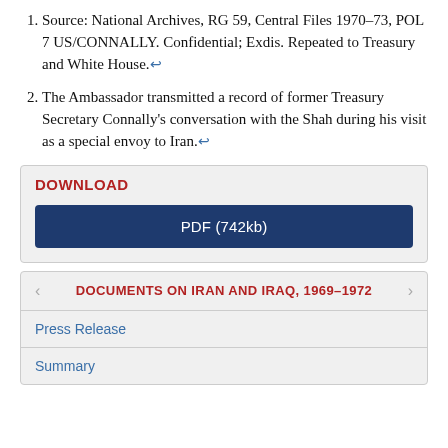Source: National Archives, RG 59, Central Files 1970–73, POL 7 US/CONNALLY. Confidential; Exdis. Repeated to Treasury and White House.↩
The Ambassador transmitted a record of former Treasury Secretary Connally's conversation with the Shah during his visit as a special envoy to Iran.↩
DOWNLOAD
PDF (742kb)
DOCUMENTS ON IRAN AND IRAQ, 1969–1972
Press Release
Summary